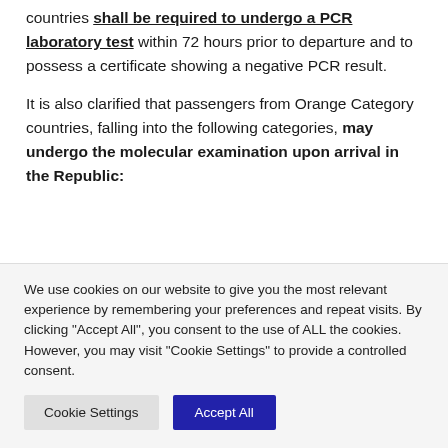It is noted that passengers coming from Orange Category countries shall be required to undergo a PCR laboratory test within 72 hours prior to departure and to possess a certificate showing a negative PCR result.
It is also clarified that passengers from Orange Category countries, falling into the following categories, may undergo the molecular examination upon arrival in the Republic:
We use cookies on our website to give you the most relevant experience by remembering your preferences and repeat visits. By clicking "Accept All", you consent to the use of ALL the cookies. However, you may visit "Cookie Settings" to provide a controlled consent.